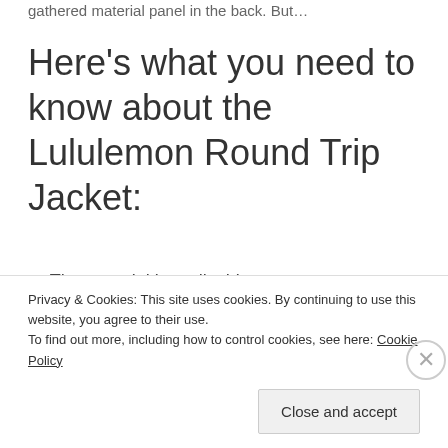gathered material panel in the back. But…
Here's what you need to know about the Lululemon Round Trip Jacket:
The material is really thin
The front seems kind of blah
But the back is as cute as it looks in pictures
Privacy & Cookies: This site uses cookies. By continuing to use this website, you agree to their use.
To find out more, including how to control cookies, see here: Cookie Policy